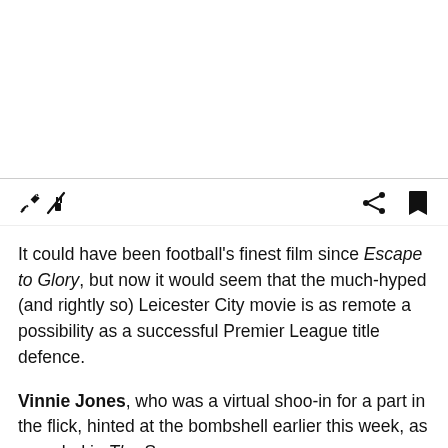[Figure (photo): Blank white image area at the top of the page]
Toolbar with icons: plug/disconnect icon on left, share icon and bookmark icon on right
It could have been football's finest film since Escape to Glory, but now it would seem that the much-hyped (and rightly so) Leicester City movie is as remote a possibility as a successful Premier League title defence.
Vinnie Jones, who was a virtual shoo-in for a part in the flick, hinted at the bombshell earlier this week, as revealed in The Sun.
“If that movie had come out by the end of (last) season it